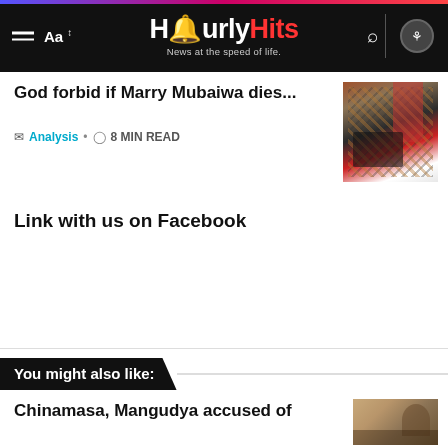HourlyHits - News at the speed of life.
God forbid if Marry Mubaiwa dies...
Analysis • 8 MIN READ
[Figure (photo): Photo of a woman in a car wearing patterned clothing, seen from the side]
Link with us on Facebook
You might also like:
Chinamasa, Mangudya accused of